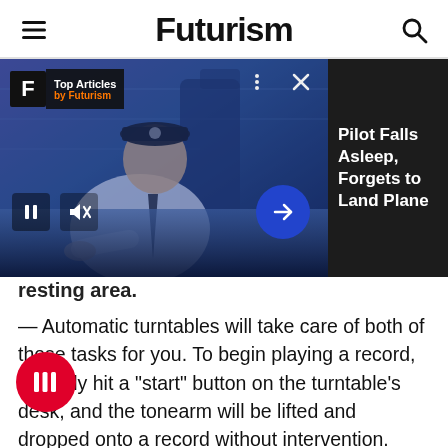Futurism
[Figure (screenshot): Video player card showing a sleeping pilot in uniform with 'Top Articles by Futurism' badge, play/pause and mute controls, blue arrow navigation button, and side panel with headline 'Pilot Falls Asleep, Forgets to Land Plane']
resting area.
— Automatic turntables will take care of both of those tasks for you. To begin playing a record, typically hit a "start" button on the turntable's desk, and the tonearm will be lifted and dropped onto a record without intervention.
At the end of an album, the tonearm will lift up, and return to its resting area.